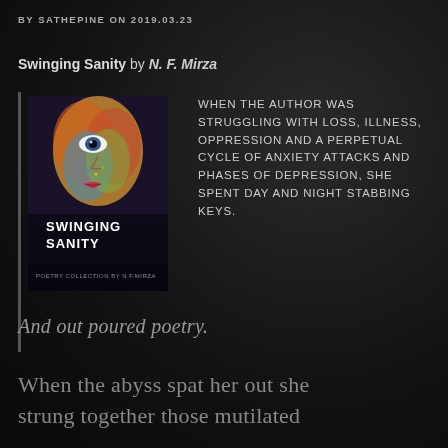BY SATHEPINE ON 2019.03.23
Swinging Sanity by N. F. Mirza
[Figure (illustration): Book cover of Swinging Sanity showing a colorful abstract portrait of a woman's face with the title 'SWINGING SANITY' and subtitle 'POETRY COLLECTION BY N.F.MIRZA']
WHEN THE AUTHOR WAS STRUGGLING WITH LOSS, ILLNESS, OPPRESSION AND A PERPETUAL CYCLE OF ANXIETY ATTACKS AND PHASES OF DEPRESSION, SHE SPENT DAY AND NIGHT STABBING KEYS.
And out poured poetry.
When the abyss spat her out she strung together those mutilated